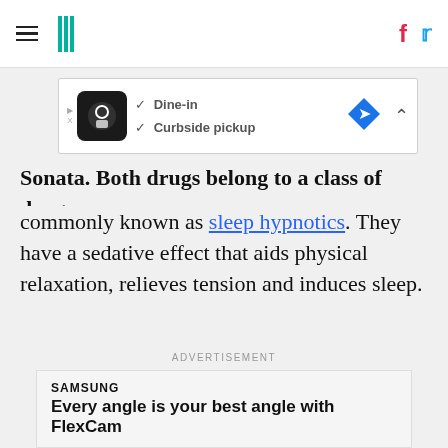HuffPost navigation header with hamburger menu and social icons (Facebook, Twitter)
[Figure (screenshot): Restaurant ad banner showing logo, checkmarks for Dine-in and Curbside pickup, and a blue navigation diamond icon]
Sonata. Both drugs belong to a class of drugs commonly known as sleep hypnotics. They have a sedative effect that aids physical relaxation, relieves tension and induces sleep.
ADVERTISEMENT
[Figure (screenshot): Samsung advertisement showing SAMSUNG logo, headline 'Every angle is your best angle with FlexCam', a LEARN MORE button, and Samsung phone products]